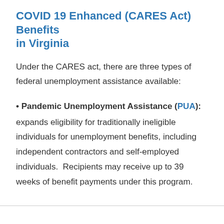COVID 19 Enhanced (CARES Act) Benefits in Virginia
Under the CARES act, there are three types of federal unemployment assistance available:
Pandemic Unemployment Assistance (PUA): expands eligibility for traditionally ineligible individuals for unemployment benefits, including independent contractors and self-employed individuals.  Recipients may receive up to 39 weeks of benefit payments under this program.